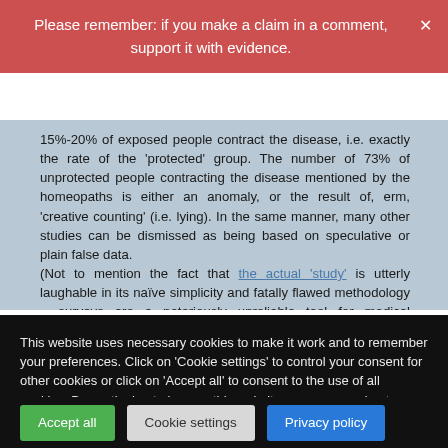Please remember: if you make a claim in a comment, support it with evidence.
15%-20% of exposed people contract the disease, i.e. exactly the rate of the 'protected' group. The number of 73% of unprotected people contracting the disease mentioned by the homeopaths is either an anomaly, or the result of, erm, 'creative counting' (i.e. lying). In the same manner, many other studies can be dismissed as being based on speculative or plain false data.
(Not to mention the fact that the actual 'study' is utterly laughable in its naïve simplicity and fatally flawed methodology – surveys are a notoriously unreliable tool for medical research.)
This website uses necessary cookies to make it work and to remember your preferences. Click on 'Cookie settings' to control your consent for other cookies or click on 'Accept all' to consent to the use of all cookies. By continuing to browse this website you are agreeing to our Privacy policy.
Accept all
Cookie settings
Privacy policy